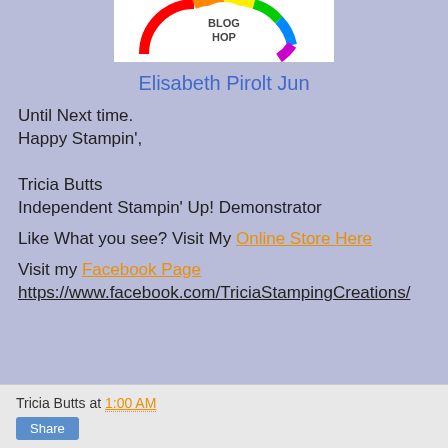[Figure (logo): Blog Hop circular logo with rainbow colors and white text]
Elisabeth Pirolt Jun
Until Next time.
Happy Stampin',

Tricia Butts
Independent Stampin' Up! Demonstrator
Like What you see? Visit My Online Store Here
Visit my Facebook Page
https://www.facebook.com/TriciaStampingCreations/
Tricia Butts at 1:00 AM